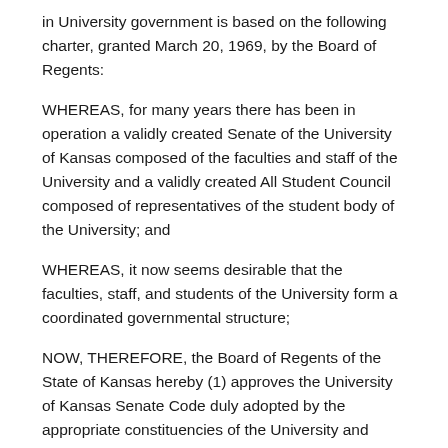in University government is based on the following charter, granted March 20, 1969, by the Board of Regents:
WHEREAS, for many years there has been in operation a validly created Senate of the University of Kansas composed of the faculties and staff of the University and a validly created All Student Council composed of representatives of the student body of the University; and
WHEREAS, it now seems desirable that the faculties, staff, and students of the University form a coordinated governmental structure;
NOW, THEREFORE, the Board of Regents of the State of Kansas hereby (1) approves the University of Kansas Senate Code duly adopted by the appropriate constituencies of the University and recommended to it by the Chancellor; (2) charters the various